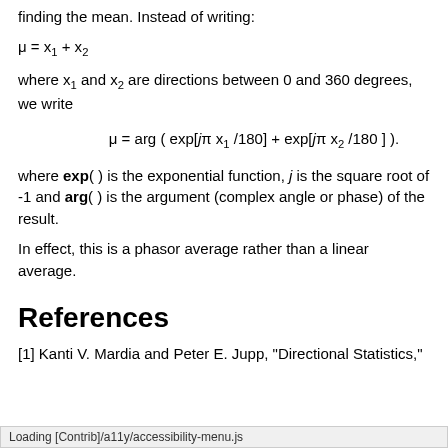finding the mean. Instead of writing:
where x₁ and x₂ are directions between 0 and 360 degrees, we write
where exp() is the exponential function, j is the square root of -1 and arg() is the argument (complex angle or phase) of the result.
In effect, this is a phasor average rather than a linear average.
References
[1] Kanti V. Mardia and Peter E. Jupp, "Directional Statistics," Wil... 1999 ISBN 10: 0471953334
Loading [Contrib]/a11y/accessibility-menu.js